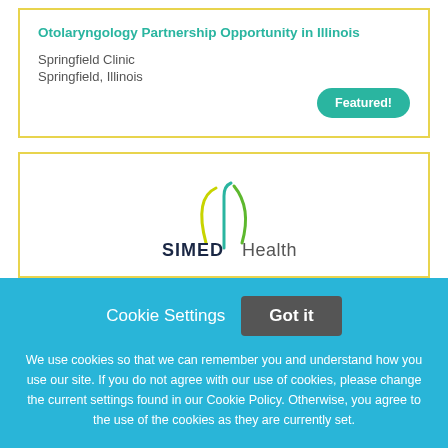Otolaryngology Partnership Opportunity in Illinois
Springfield Clinic
Springfield, Illinois
Featured!
[Figure (logo): SIMEDHealth logo with stylized teal/green/yellow swoosh graphic above the text 'SIMEDHealth']
Cookie Settings
Got it
We use cookies so that we can remember you and understand how you use our site. If you do not agree with our use of cookies, please change the current settings found in our Cookie Policy. Otherwise, you agree to the use of the cookies as they are currently set.